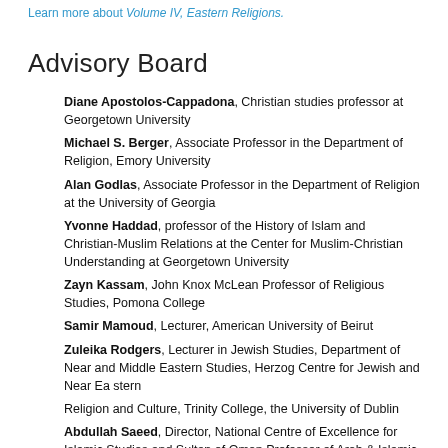Learn more about Volume IV, Eastern Religions.
Advisory Board
Diane Apostolos-Cappadona, Christian studies professor at Georgetown University
Michael S. Berger, Associate Professor in the Department of Religion, Emory University
Alan Godlas, Associate Professor in the Department of Religion at the University of Georgia
Yvonne Haddad, professor of the History of Islam and Christian-Muslim Relations at the Center for Muslim-Christian Understanding at Georgetown University
Zayn Kassam, John Knox McLean Professor of Religious Studies, Pomona College
Samir Mamoud, Lecturer, American University of Beirut
Zuleika Rodgers, Lecturer in Jewish Studies, Department of Near and Middle Eastern Studies, Herzog Centre for Jewish and Near Eastern Religion and Culture, Trinity College, the University of Dublin
Abdullah Saeed, Director, National Centre of Excellence for Islamic Studies and Sultan of Oman Professor of Arab & Islamic...